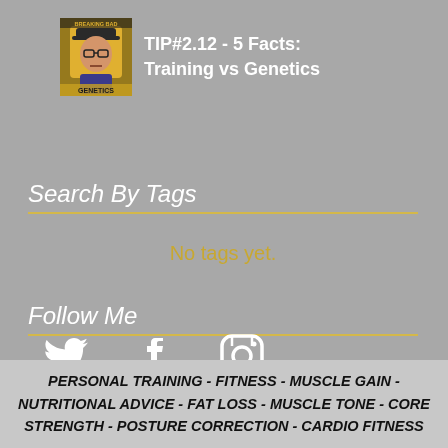[Figure (illustration): Breaking Bad Genetics thumbnail image — man in hat with yellow/orange tones]
TIP#2.12 - 5 Facts: Training vs Genetics
Search By Tags
No tags yet.
Follow Me
[Figure (infographic): Twitter, Facebook, and Instagram social media icons in white]
PERSONAL TRAINING - FITNESS - MUSCLE GAIN - NUTRITIONAL ADVICE - FAT LOSS - MUSCLE TONE - CORE STRENGTH - POSTURE CORRECTION - CARDIO FITNESS